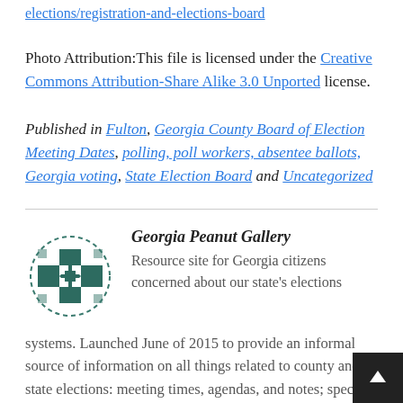elections/registration-and-elections-board
Photo Attribution:This file is licensed under the Creative Commons Attribution-Share Alike 3.0 Unported license.
Published in Fulton, Georgia County Board of Election Meeting Dates, polling, poll workers, absentee ballots, Georgia voting, State Election Board and Uncategorized
[Figure (logo): Georgia Peanut Gallery logo — a teal/dark green geometric star/cross pattern with dashed circular border]
Georgia Peanut Gallery — Resource site for Georgia citizens concerned about our state's elections systems. Launched June of 2015 to provide an informal source of information on all things related to county and state elections: meeting times, agendas, and notes; special election information; redistricting and prec closure updates, etc. We aim for absolute accuracy o